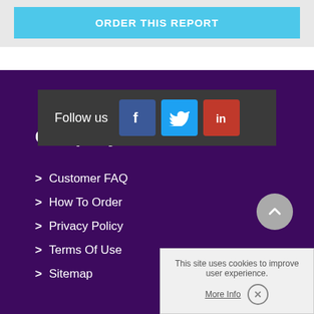ORDER THIS REPORT
Follow us
Company
> Customer FAQ
> How To Order
> Privacy Policy
> Terms Of Use
> Sitemap
This site uses cookies to improve user experience.
More Info